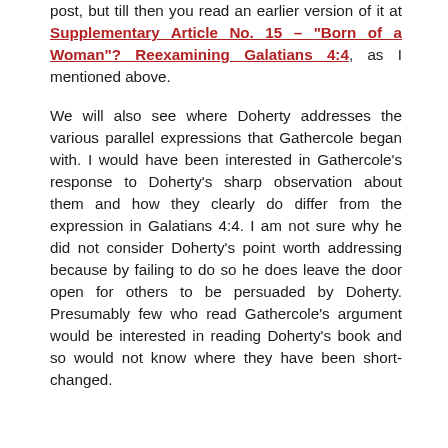post, but till then you read an earlier version of it at Supplementary Article No. 15 – "Born of a Woman"? Reexamining Galatians 4:4, as I mentioned above.
We will also see where Doherty addresses the various parallel expressions that Gathercole began with. I would have been interested in Gathercole's response to Doherty's sharp observation about them and how they clearly do differ from the expression in Galatians 4:4. I am not sure why he did not consider Doherty's point worth addressing because by failing to do so he does leave the door open for others to be persuaded by Doherty. Presumably few who read Gathercole's argument would be interested in reading Doherty's book and so would not know where they have been short-changed.